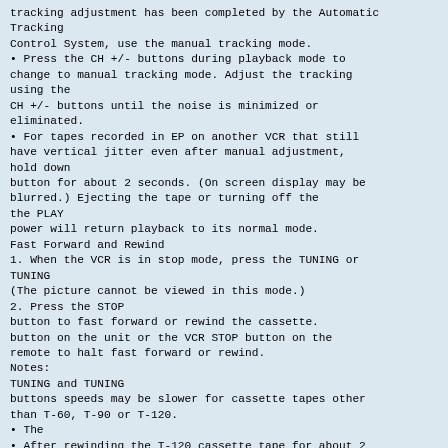tracking adjustment has been completed by the Automatic Tracking
Control System, use the manual tracking mode.
• Press the CH +/- buttons during playback mode to change to manual tracking mode. Adjust the tracking using the
CH +/- buttons until the noise is minimized or eliminated.
• For tapes recorded in EP on another VCR that still have vertical jitter even after manual adjustment, hold down
button for about 2 seconds. (On screen display may be blurred.) Ejecting the tape or turning off the the PLAY
power will return playback to its normal mode.
Fast Forward and Rewind
1. When the VCR is in stop mode, press the TUNING or TUNING
(The picture cannot be viewed in this mode.)
2. Press the STOP
button to fast forward or rewind the cassette.
button on the unit or the VCR STOP button on the remote to halt fast forward or rewind.
Notes:
TUNING and TUNING
buttons speeds may be slower for cassette tapes other than T-60, T-90 or T-120.
• The
• After rewinding the T-120 cassette tape for about 2 minutes, you can fast forward the cassette tape.
Video Search
Use the following procedure to quickly find the section you want, while viewing the picture.